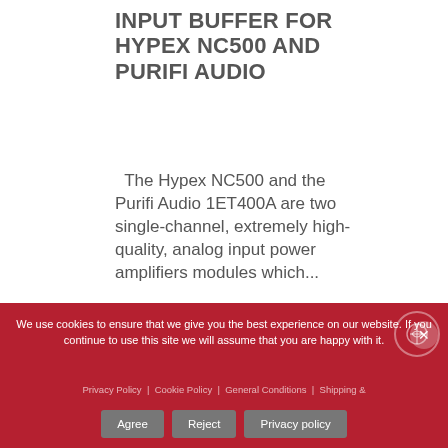INPUT BUFFER FOR HYPEX NC500 AND PURIFI AUDIO
The Hypex NC500 and the Purifi Audio 1ET400A are two single-channel, extremely high-quality, analog input power amplifiers modules which...
We use cookies to ensure that we give you the best experience on our website. If you continue to use this site we will assume that you are happy with it.
Privacy Policy | Cookie Policy | General Conditions | Shipping &
Agree  Reject  Privacy policy